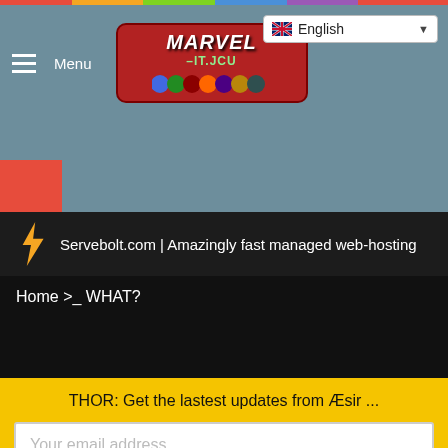[Figure (screenshot): Website header with Marvel-ITJCU logo, hamburger menu, and English language selector]
[Figure (logo): Marvel-ITJCU logo in red rounded rectangle with character icons]
Servebolt.com | Amazingly fast managed web-hosting
Home >_ WHAT?
THOR: Get the lastest updates from Æsir ...
Your email address ...
[ SUBSCRIBE ]